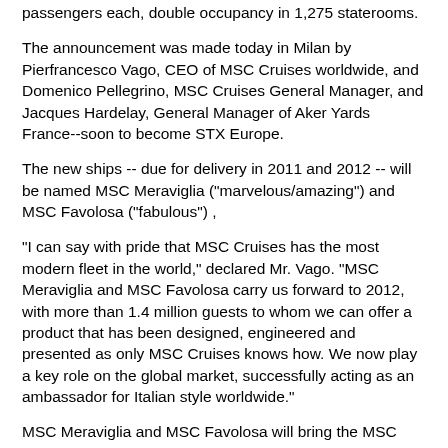passengers each, double occupancy in 1,275 staterooms.
The announcement was made today in Milan by Pierfrancesco Vago, CEO of MSC Cruises worldwide, and Domenico Pellegrino, MSC Cruises General Manager, and Jacques Hardelay, General Manager of Aker Yards France--soon to become STX Europe.
The new ships -- due for delivery in 2011 and 2012 -- will be named MSC Meraviglia ("marvelous/amazing") and MSC Favolosa ("fabulous") ,
"I can say with pride that MSC Cruises has the most modern fleet in the world," declared Mr. Vago. "MSC Meraviglia and MSC Favolosa carry us forward to 2012, with more than 1.4 million guests to whom we can offer a product that has been designed, engineered and presented as only MSC Cruises knows how. We now play a key role on the global market, successfully acting as an ambassador for Italian style worldwide."
MSC Meraviglia and MSC Favolosa will bring the MSC Cruises’ fleet total to 14 ships, completing a ? 5.5 billion investment between 2003 and 2009 for the construction of 10 new generation ships, subdivided into three classes: Lirica class (60,000 tons), Musica class (93,000 tons), Fantasia class (133,500 tons);